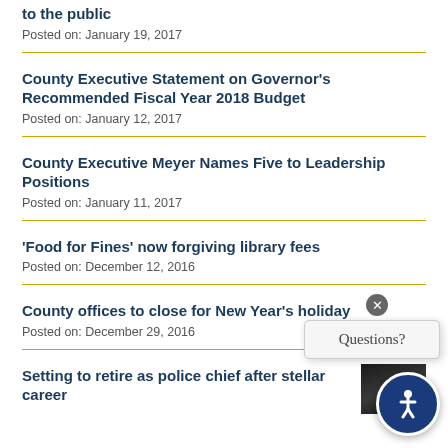to the public
Posted on: January 19, 2017
County Executive Statement on Governor's Recommended Fiscal Year 2018 Budget
Posted on: January 12, 2017
County Executive Meyer Names Five to Leadership Positions
Posted on: January 11, 2017
'Food for Fines' now forgiving library fees
Posted on: December 12, 2016
County offices to close for New Year's holiday
Posted on: December 29, 2016
Setting to retire as police chief after stellar career